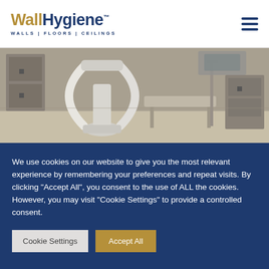[Figure (logo): WallHygiene logo with tagline WALLS | FLOORS | CEILINGS in navy blue and gold]
[Figure (photo): Medical imaging room with C-arm or interventional radiology equipment, surgical table, beige/gray walls and flooring]
We use cookies on our website to give you the most relevant experience by remembering your preferences and repeat visits. By clicking “Accept All”, you consent to the use of ALL the cookies. However, you may visit "Cookie Settings" to provide a controlled consent.
Cookie Settings | Accept All